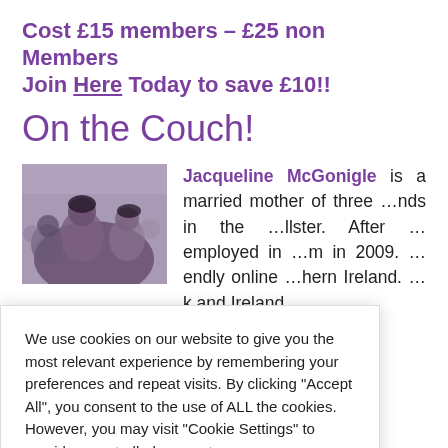Cost £15 members – £25 non Members Join Here Today to save £10!!
On the Couch!
[Figure (photo): Portrait photo of Jacqueline McGonigle, a group of people visible]
Jacqueline McGonigle is a married mother of three ...nds in the ...llster. After ...employed in ...m in 2009. ...endly online ...hern Ireland. ...k and Ireland, whatsonni.com offers users the opportunity to
We use cookies on our website to give you the most relevant experience by remembering your preferences and repeat visits. By clicking "Accept All", you consent to the use of ALL the cookies. However, you may visit "Cookie Settings" to provide a controlled consent.